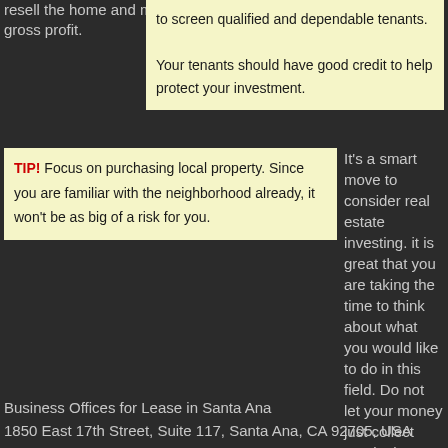resell the home and make a significantly larger gross profit.
to screen qualified and dependable tenants. Your tenants should have good credit to help protect your investment.
TIP! Focus on purchasing local property. Since you are familiar with the neighborhood already, it won't be as big of a risk for you.
It's a smart move to consider real estate investing. it is great that you are taking the time to think about what you would like to do in this field. Do not let your money just collect nominal interest in a simple bank account. Remember these excellent tips and get involved with a great way to make a higher income.
Business Offices for Lease in Santa Ana
1850 East 17th Street, Suite 117, Santa Ana, CA 92705, USA